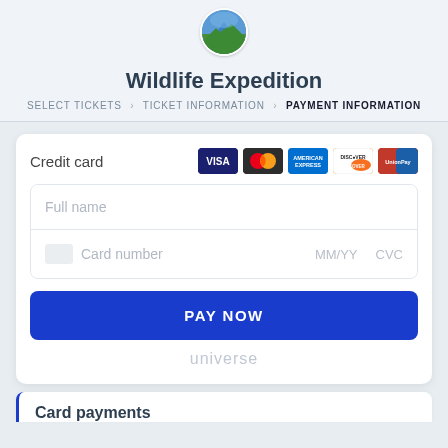[Figure (logo): Circular logo with mountain/nature landscape photo]
Wildlife Expedition
SELECT TICKETS > TICKET INFORMATION > PAYMENT INFORMATION
Credit card
[Figure (other): Payment card icons: VISA, Mastercard, American Express, Discover, UnionPay]
Full name
Card number MM/YY CVC
PAY NOW
universe
Card payments